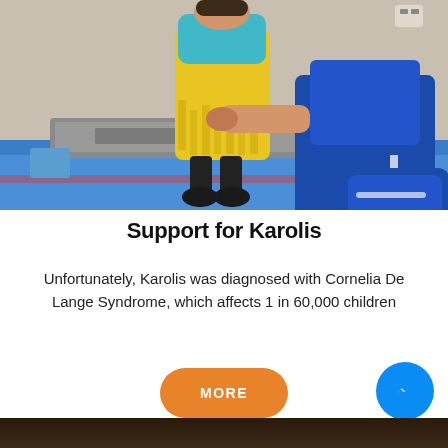[Figure (photo): Photo of a child wearing yellow costume/outfit standing on a step platform with braces on legs, and an adult in blue athletic clothing kneeling beside them on colorful foam mat flooring in what appears to be a therapy or gym setting]
Support for Karolis
Unfortunately, Karolis was diagnosed with Cornelia De Lange Syndrome, which affects 1 in 60,000 children
[Figure (photo): Partial photo visible at the bottom of the page, dark tones]